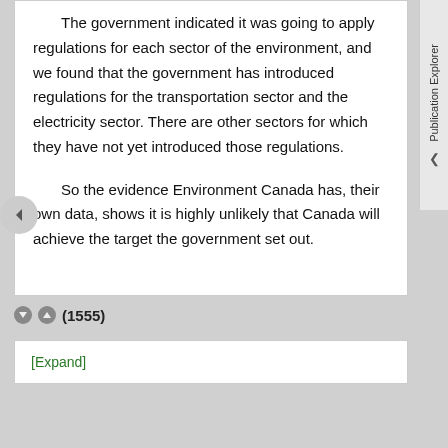The government indicated it was going to apply regulations for each sector of the environment, and we found that the government has introduced regulations for the transportation sector and the electricity sector. There are other sectors for which they have not yet introduced those regulations.
So the evidence Environment Canada has, their own data, shows it is highly unlikely that Canada will achieve the target the government set out.
(1555)
[Expand]